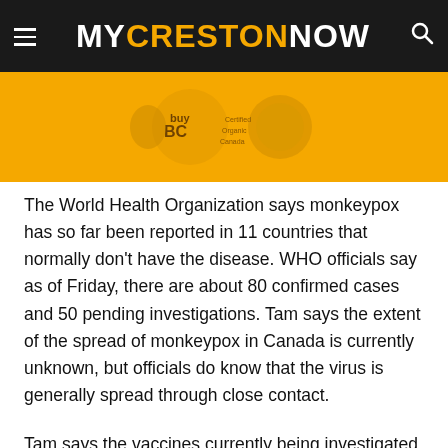MYCRESTONNOW
[Figure (photo): Yellow banner image with BuyBC logo and other logos on a yellow/gold background, partially visible at top of page]
The World Health Organization says monkeypox has so far been reported in 11 countries that normally don't have the disease. WHO officials say as of Friday, there are about 80 confirmed cases and 50 pending investigations. Tam says the extent of the spread of monkeypox in Canada is currently unknown, but officials do know that the virus is generally spread through close contact.
Tam says the vaccines currently being investigated by Health Canada for monkeypox were originally developed for smallpox which was declared eradicated by the WHO in 1980.